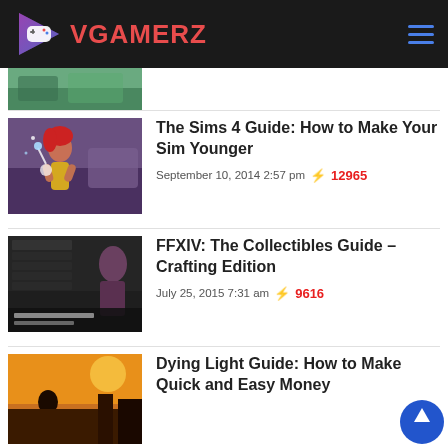VGAMERZ
[Figure (screenshot): Partial thumbnail of a game screenshot (top portion only visible), green/nature scene]
[Figure (screenshot): The Sims 4 screenshot showing a red-haired female sim in a yellow dress with magic/potion effect]
The Sims 4 Guide: How to Make Your Sim Younger
September 10, 2014 2:57 pm  ⚡ 12965
[Figure (screenshot): FFXIV Crafting Collectibles Guide screenshot showing dark game UI with character]
FFXIV: The Collectibles Guide – Crafting Edition
July 25, 2015 7:31 am  ⚡ 9616
[Figure (screenshot): Dying Light game screenshot showing survivor against dramatic orange sunset sky]
Dying Light Guide: How to Make Quick and Easy Money